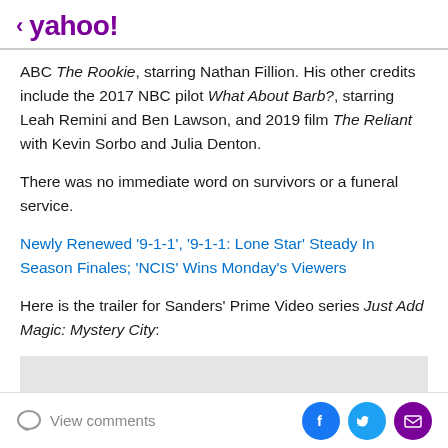< yahoo!
ABC The Rookie, starring Nathan Fillion. His other credits include the 2017 NBC pilot What About Barb?, starring Leah Remini and Ben Lawson, and 2019 film The Reliant with Kevin Sorbo and Julia Denton.
There was no immediate word on survivors or a funeral service.
Newly Renewed '9-1-1', '9-1-1: Lone Star' Steady In Season Finales; 'NCIS' Wins Monday's Viewers
Here is the trailer for Sanders' Prime Video series Just Add Magic: Mystery City:
[Figure (other): Video player placeholder area, grey background]
View comments | Facebook share | Twitter share | Email share